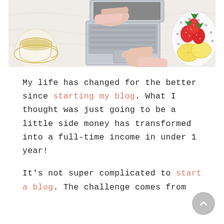[Figure (photo): Overhead view of a person typing on a laptop with a cup of tea on the left and a plate of strawberries and lemon slices on the right, on a white marble surface.]
My life has changed for the better since starting my blog. What I thought was just going to be a little side money has transformed into a full-time income in under 1 year!
It's not super complicated to start a blog. The challenge comes from